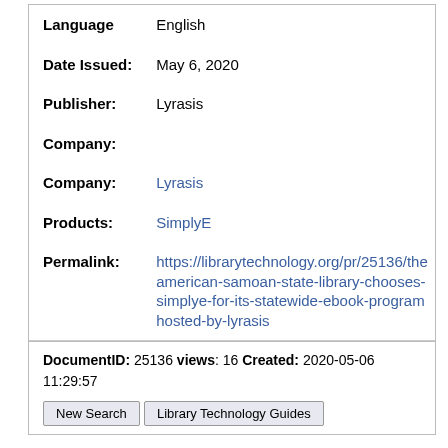| Field | Value |
| --- | --- |
| Language | English |
| Date Issued: | May 6, 2020 |
| Publisher: | Lyrasis |
| Company: |  |
| Company: | Lyrasis |
| Products: | SimplyE |
| Permalink: | https://librarytechnology.org/pr/25136/the-american-samoan-state-library-chooses-simplye-for-its-statewide-ebook-program-hosted-by-lyrasis |
DocumentID: 25136 views: 16 Created: 2020-05-06 11:29:57 Last Modified: 2022-08-29 04:07:30.
New Search   Library Technology Guides